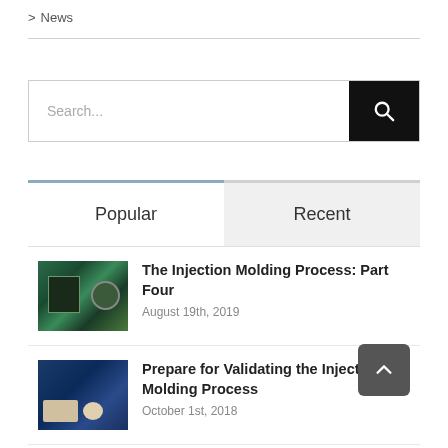> News
[Figure (screenshot): Search bar with text placeholder 'Search...' and black search button with magnifying glass icon]
Popular
Recent
[Figure (photo): Thumbnail image of injection molding machinery with green tones]
The Injection Molding Process: Part Four
August 19th, 2019
[Figure (photo): Thumbnail image of injection molding parts on blue background]
Prepare for Validating the Injection Molding Process
October 1st, 2018